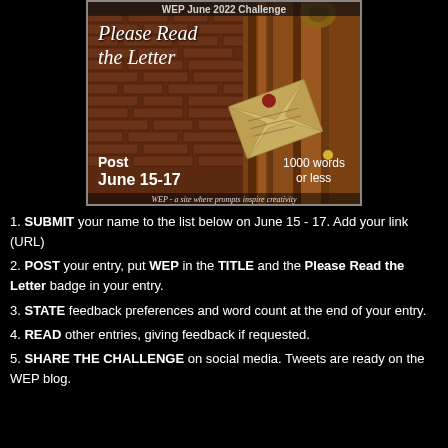[Figure (illustration): WEP June 2022 Challenge badge showing 'Please Read the Letter' with an envelope image over brick and ornate wood background. Text: Post June 15-17, 1000 words or less. Footer: WEP - a site where prompts inspire creativity.]
1. SUBMIT your name to the list below on June 15 - 17. Add your link (URL)
2. POST your entry, put WEP in the TITLE and the Please Read the Letter badge in your entry.
3. STATE feedback preferences and word count at the end of your entry.
4. READ other entries, giving feedback if requested.
5. SHARE THE CHALLENGE on social media. Tweets are ready on the WEP blog.